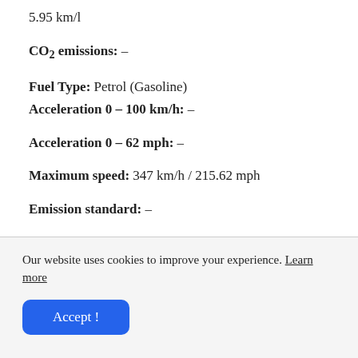5.95 km/l
CO2 emissions: –
Fuel Type: Petrol (Gasoline)
Acceleration 0 – 100 km/h: –
Acceleration 0 – 62 mph: –
Maximum speed: 347 km/h / 215.62 mph
Emission standard: –
Our website uses cookies to improve your experience. Learn more